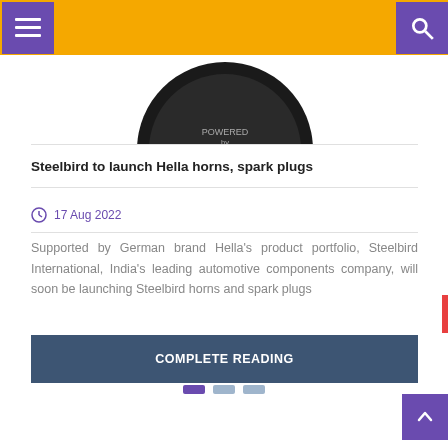Navigation bar with menu and search icons
[Figure (photo): Partial view of a circular black automotive product (Hella branded) shown from above, cropped at top]
Steelbird to launch Hella horns, spark plugs
17 Aug 2022
Supported by German brand Hella's product portfolio, Steelbird International, India's leading automotive components company, will soon be launching Steelbird horns and spark plugs
COMPLETE READING
[Figure (other): Pagination indicator with three small rectangular dots: one purple (active) and two light blue (inactive)]